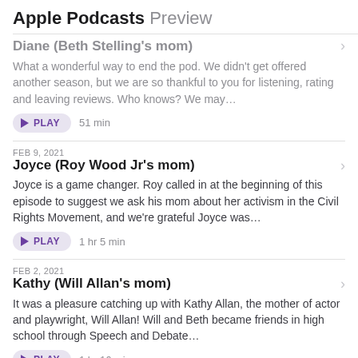Apple Podcasts Preview
Diane (Beth Stelling's mom)
What a wonderful way to end the pod. We didn't get offered another season, but we are so thankful to you for listening, rating and leaving reviews. Who knows? We may…
PLAY  51 min
FEB 9, 2021
Joyce (Roy Wood Jr's mom)
Joyce is a game changer. Roy called in at the beginning of this episode to suggest we ask his mom about her activism in the Civil Rights Movement, and we're grateful Joyce was…
PLAY  1 hr 5 min
FEB 2, 2021
Kathy (Will Allan's mom)
It was a pleasure catching up with Kathy Allan, the mother of actor and playwright, Will Allan! Will and Beth became friends in high school through Speech and Debate…
PLAY  1 hr 16 min